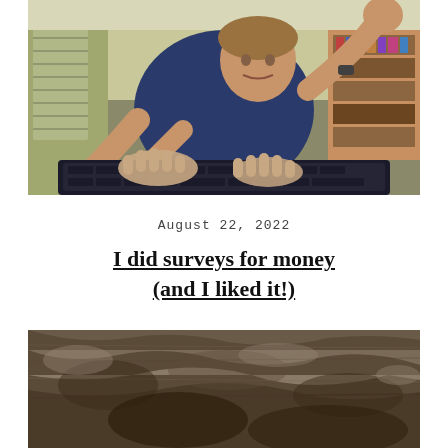[Figure (photo): Man typing intensely on a keyboard, leaning forward with both hands splayed across the keys, in a room with bookshelves in the background]
August 22, 2022
I did surveys for money (and I liked it!)
[Figure (photo): Rocky mountainous or cave-like terrain, dark brown and grey tones]